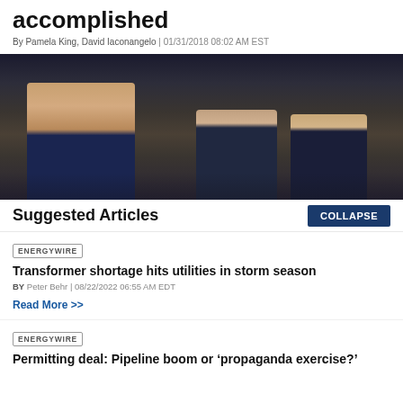accomplished
By Pamela King, David Iaconangelo | 01/31/2018 08:02 AM EST
[Figure (photo): President Trump raising fist at podium with Mike Pence and Paul Ryan clapping behind him]
Suggested Articles
COLLAPSE
ENERGYWIRE
Transformer shortage hits utilities in storm season
BY Peter Behr | 08/22/2022 06:55 AM EDT
Read More >>
ENERGYWIRE
Permitting deal: Pipeline boom or 'propaganda exercise?'